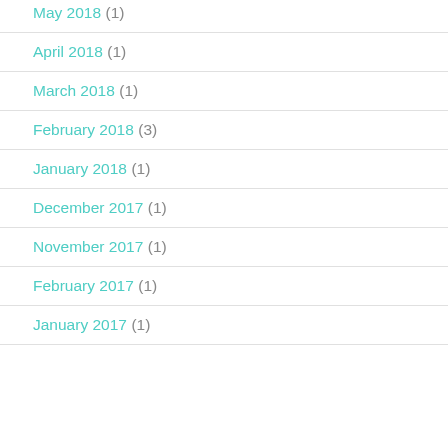May 2018 (1)
April 2018 (1)
March 2018 (1)
February 2018 (3)
January 2018 (1)
December 2017 (1)
November 2017 (1)
February 2017 (1)
January 2017 (1)